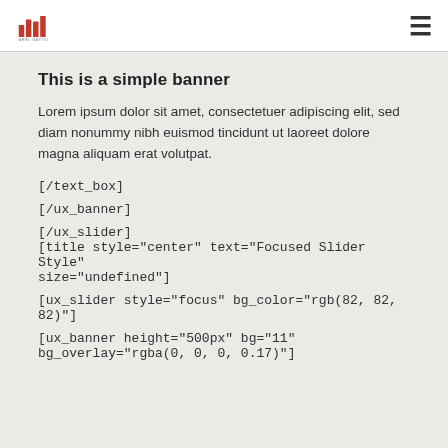[logo] [hamburger menu]
This is a simple banner
Lorem ipsum dolor sit amet, consectetuer adipiscing elit, sed diam nonummy nibh euismod tincidunt ut laoreet dolore magna aliquam erat volutpat.
[/text_box]
[/ux_banner]
[/ux_slider]
[title style="center" text="Focused Slider Style" size="undefined"]
[ux_slider style="focus" bg_color="rgb(82, 82, 82)"]
[ux_banner height="500px" bg="11" bg_overlay="rgba(0, 0, 0, 0.17)"]